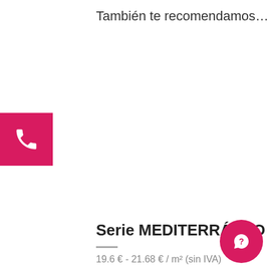También te recomendamos…
[Figure (other): Pink/magenta square button with white phone handset icon]
Serie MEDITERRÁNEO
19.6 € - 21.68 € / m² (sin IVA)
[Figure (other): Round magenta chat/help button with white question mark speech bubble icon]